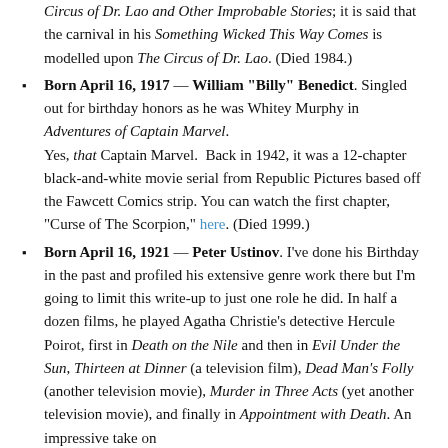Circus of Dr. Lao and Other Improbable Stories; it is said that the carnival in his Something Wicked This Way Comes is modelled upon The Circus of Dr. Lao. (Died 1984.)
Born April 16, 1917 — William "Billy" Benedict. Singled out for birthday honors as he was Whitey Murphy in Adventures of Captain Marvel. Yes, that Captain Marvel. Back in 1942, it was a 12-chapter black-and-white movie serial from Republic Pictures based off the Fawcett Comics strip. You can watch the first chapter, "Curse of The Scorpion," here. (Died 1999.)
Born April 16, 1921 — Peter Ustinov. I've done his Birthday in the past and profiled his extensive genre work there but I'm going to limit this write-up to just one role he did. In half a dozen films, he played Agatha Christie's detective Hercule Poirot, first in Death on the Nile and then in Evil Under the Sun, Thirteen at Dinner (a television film), Dead Man's Folly (another television movie), Murder in Three Acts (yet another television movie), and finally in Appointment with Death. An impressive take on